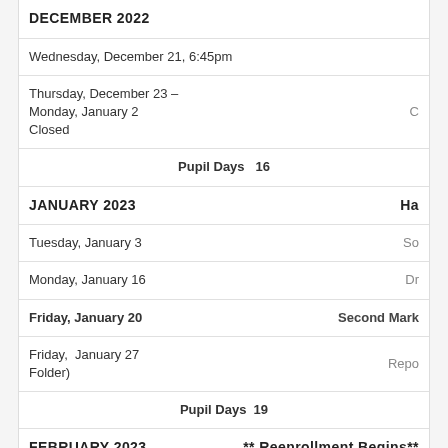| Date | Event |
| --- | --- |
| DECEMBER  2022 |  |
| Wednesday, December 21, 6:45pm |  |
| Thursday, December 23 – Monday, January 2
Closed | C |
| Pupil Days  16 |  |
| JANUARY 2023 | Ha |
| Tuesday, January 3 | So |
| Monday, January 16 | Dr |
| Friday, January 20 | Second Mark |
| Friday,  January 27
Folder) | Repo |
| Pupil Days  19 |  |
| FEBRUARY  2023 | ** Reenrollment Begins** |